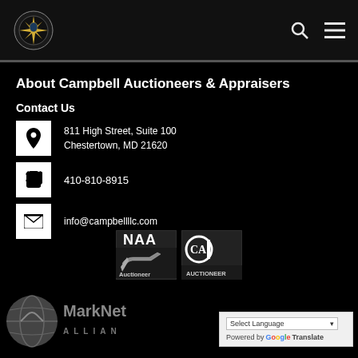[Figure (logo): Campbell Auctioneers & Appraisers logo - circular emblem with gold and dark design]
About Campbell Auctioneers & Appraisers
Contact Us
811 High Street, Suite 100
Chestertown, MD 21620
410-810-8915
info@campbellllc.com
[Figure (logo): NAA Auctioneer and CAI Auctioneer logos side by side]
[Figure (logo): MarkNet Alliance logo]
Select Language
Powered by Google Translate